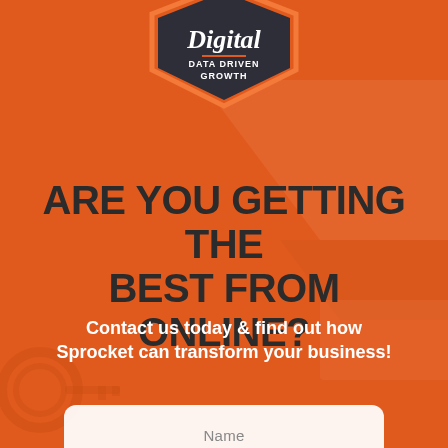[Figure (logo): Sprocket Digital badge/shield logo with script 'Digital' text and 'DATA DRIVEN GROWTH' subtitle on dark charcoal shield with orange border]
ARE YOU GETTING THE BEST FROM ONLINE?
Contact us today & find out how Sprocket can transform your business!
Name